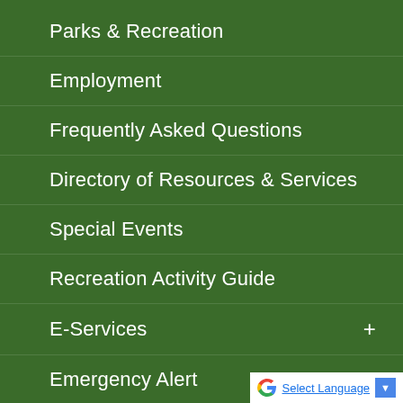Parks & Recreation
Employment
Frequently Asked Questions
Directory of Resources & Services
Special Events
Recreation Activity Guide
E-Services +
Emergency Alert
[Figure (logo): Google Translate widget with G logo, Select Language text, and dropdown arrow]